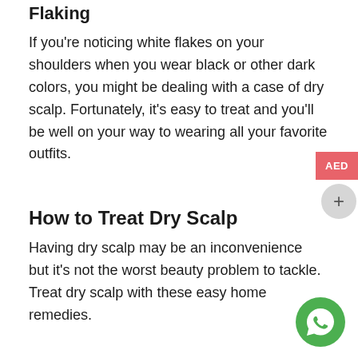Flaking
If you're noticing white flakes on your shoulders when you wear black or other dark colors, you might be dealing with a case of dry scalp. Fortunately, it's easy to treat and you'll be well on your way to wearing all your favorite outfits.
How to Treat Dry Scalp
Having dry scalp may be an inconvenience but it's not the worst beauty problem to tackle. Treat dry scalp with these easy home remedies.
Tea Tree Oil
Take advantage of tea tree oil's antifungal